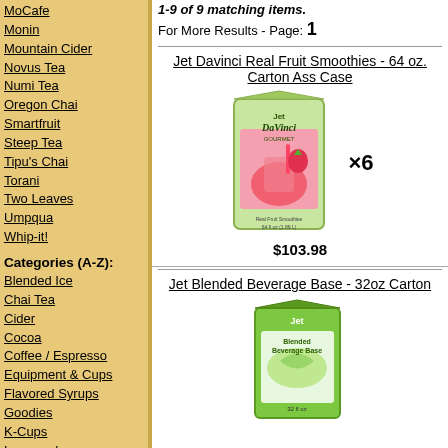MoCafe
Monin
Mountain Cider
Novus Tea
Numi Tea
Oregon Chai
Smartfruit
Steep Tea
Tipu's Chai
Torani
Two Leaves
Umpqua
Whip-it!
Categories (A-Z):
Blended Ice
Chai Tea
Cider
Cocoa
Coffee / Espresso
Equipment & Cups
Flavored Syrups
Goodies
K-Cups
Lemonade
Matcha
Oatmeal
Sauces
1-9 of 9 matching items.
For More Results - Page: 1
Jet Davinci Real Fruit Smoothies - 64 oz. Carton Assorted Case
[Figure (photo): Jet DaVinci Gourmet real fruit smoothies 64oz carton with strawberry image, x6 quantity indicator]
$103.98
Jet Blended Beverage Base - 32oz Carton
[Figure (photo): Jet Blended Beverage Base 32oz green carton]